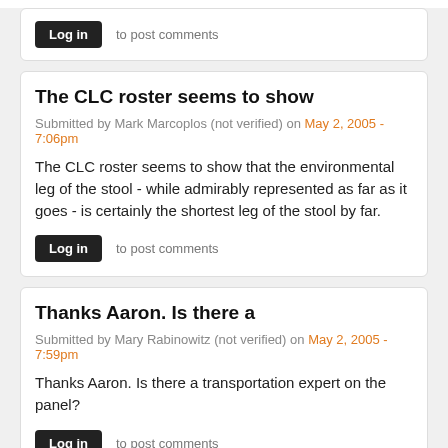Log in  to post comments
The CLC roster seems to show
Submitted by Mark Marcoplos (not verified) on May 2, 2005 - 7:06pm
The CLC roster seems to show that the environmental leg of the stool - while admirably represented as far as it goes - is certainly the shortest leg of the stool by far.
Log in  to post comments
Thanks Aaron. Is there a
Submitted by Mary Rabinowitz (not verified) on May 2, 2005 - 7:59pm
Thanks Aaron. Is there a transportation expert on the panel?
Log in  to post comments